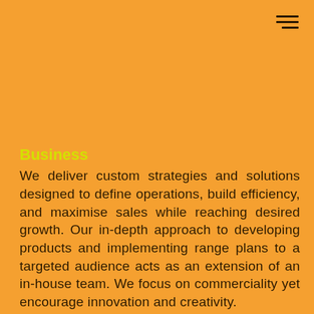[Figure (other): Hamburger menu icon — three horizontal lines in top-right corner]
Business
We deliver custom strategies and solutions designed to define operations, build efficiency, and maximise sales while reaching desired growth. Our in-depth approach to developing products and implementing range plans to a targeted audience acts as an extension of an in-house team. We focus on commerciality yet encourage innovation and creativity.
Includes:
- Range planning
- Product development